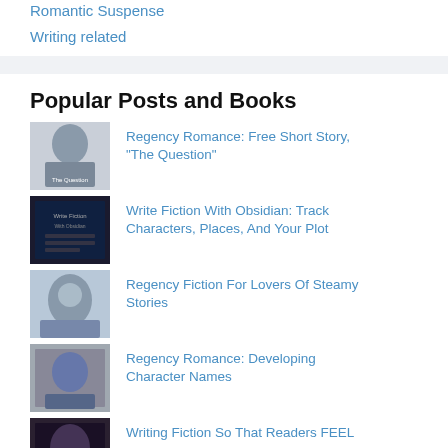Romantic Suspense
Writing related
Popular Posts and Books
Regency Romance: Free Short Story, “The Question”
Write Fiction With Obsidian: Track Characters, Places, And Your Plot
Regency Fiction For Lovers Of Steamy Stories
Regency Romance: Developing Character Names
Writing Fiction So That Readers FEEL